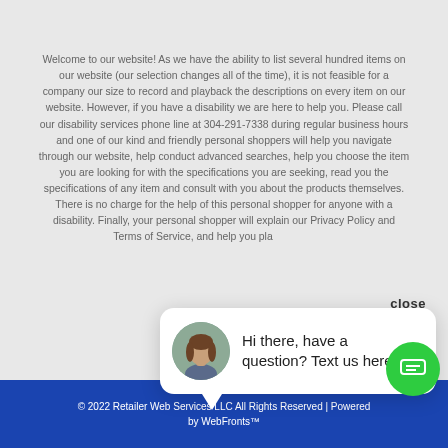Welcome to our website! As we have the ability to list several hundred items on our website (our selection changes all of the time), it is not feasible for a company our size to record and playback the descriptions on every item on our website. However, if you have a disability we are here to help you. Please call our disability services phone line at 304-291-7338 during regular business hours and one of our kind and friendly personal shoppers will help you navigate through our website, help conduct advanced searches, help you choose the item you are looking for with the specifications you are seeking, read you the specifications of any item and consult with you about the products themselves. There is no charge for the help of this personal shopper for anyone with a disability. Finally, your personal shopper will explain our Privacy Policy and Terms of Service, and help you pla... close if you so desire.
Locat...
Terms of...
Do Not Sell My Personal Information
[Figure (illustration): Chat popup with a woman's avatar photo and text: Hi there, have a question? Text us here.]
© 2022 Retailer Web Services LLC All Rights Reserved | Powered by WebFronts™